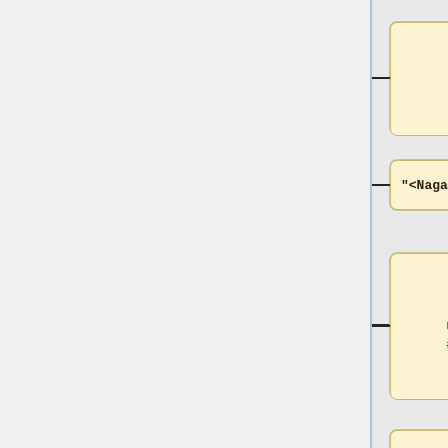[Figure (flowchart): Dependency tree / parse diagram showing nodes connected by horizontal dashes to a vertical blue line. Nodes shown (top to bottom): 1) '"mai" pr @case #8->9', 2) '"<Nagasau>"', 3) '"Nagasau" np top @nmod #9->7', 4) '"<,>"', 5) '"," cm @punct #10->13', 6) '"<rau>"', 7) '"rau" prn pers p3 du subj2 @nsubj #11->13', 8) '" <va\'aqawabu\'a> "'. Each node is a rounded rectangle with a pale yellow background.]